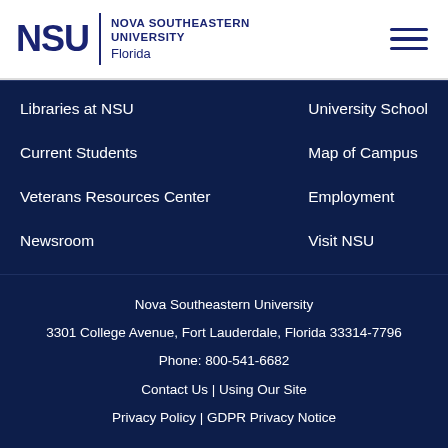[Figure (logo): NSU Nova Southeastern University Florida logo with hamburger menu icon]
Libraries at NSU
University School
Current Students
Map of Campus
Veterans Resources Center
Employment
Newsroom
Visit NSU
Nova Southeastern University
3301 College Avenue, Fort Lauderdale, Florida 33314-7796
Phone: 800-541-6682
Contact Us | Using Our Site
Privacy Policy | GDPR Privacy Notice